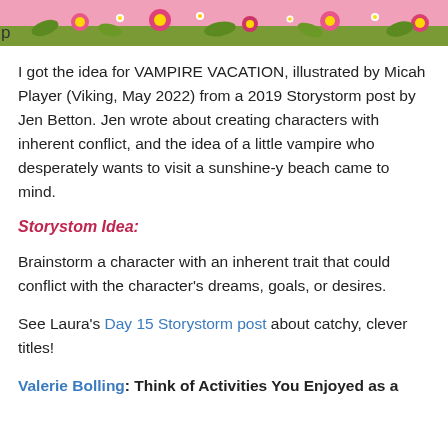[Figure (illustration): Top portion of a colorful illustrated book cover with pink and floral background with green foliage and flowers, partially cropped. Letter 'p' visible at lower left.]
I got the idea for VAMPIRE VACATION, illustrated by Micah Player (Viking, May 2022) from a 2019 Storystorm post by Jen Betton. Jen wrote about creating characters with inherent conflict, and the idea of a little vampire who desperately wants to visit a sunshine-y beach came to mind.
Storystom Idea:
Brainstorm a character with an inherent trait that could conflict with the character's dreams, goals, or desires.
See Laura's Day 15 Storystorm post about catchy, clever titles!
Valerie Bolling: Think of Activities You Enjoyed as a